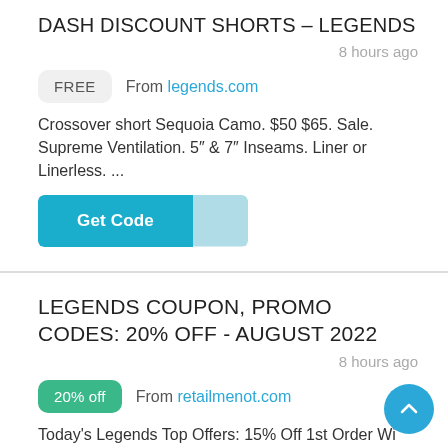DASH DISCOUNT SHORTS – LEGENDS
8 hours ago
FREE  From legends.com
Crossover short Sequoia Camo. $50 $65. Sale. Supreme Ventilation. 5″ & 7″ Inseams. Liner or Linerless. ...
[Figure (other): Get Code button with teal background and lighter blue tail section]
LEGENDS COUPON, PROMO CODES: 20% OFF - AUGUST 2022
8 hours ago
20% off  From retailmenot.com
Today's Legends Top Offers: 15% Off 1st Order With Legends Email Signup. Free Shipping on Orders of $150 & Up. Coupon Type. Available. Total Offers. 9.